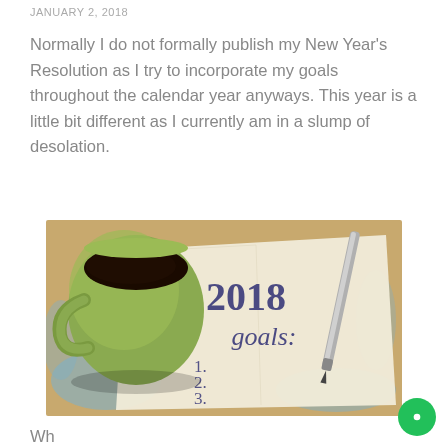JANUARY 2, 2018
Normally I do not formally publish my New Year’s Resolution as I try to incorporate my goals throughout the calendar year anyways. This year is a little bit different as I currently am in a slump of desolation.
[Figure (photo): Photo of a green coffee mug filled with black coffee next to a napkin that reads '2018 goals: 1. 2. 3.' with a pen resting on it, on a weathered wooden table.]
Wh...